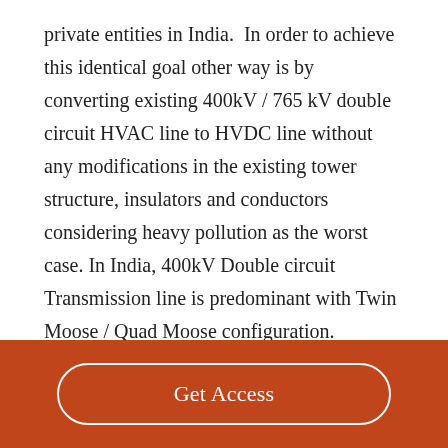private entities in India.  In order to achieve this identical goal other way is by converting existing 400kV / 765 kV double circuit HVAC line to HVDC line without any modifications in the existing tower structure, insulators and conductors considering heavy pollution as the worst case. In India, 400kV Double circuit Transmission line is predominant with Twin Moose / Quad Moose configuration.  Similarly 765kV Double circuit
Get Access